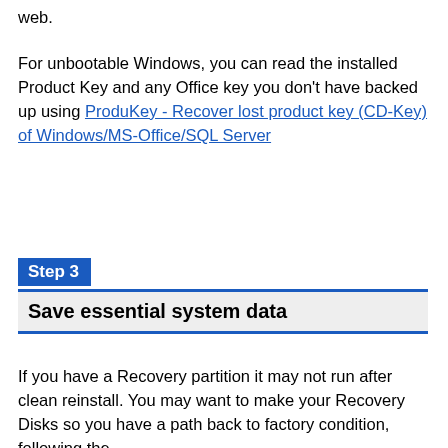web.
For unbootable Windows, you can read the installed Product Key and any Office key you don't have backed up using ProduKey - Recover lost product key (CD-Key) of Windows/MS-Office/SQL Server
Step 3
Save essential system data
If you have a Recovery partition it may not run after clean reinstall. You may want to make your Recovery Disks so you have a path back to factory condition, following the